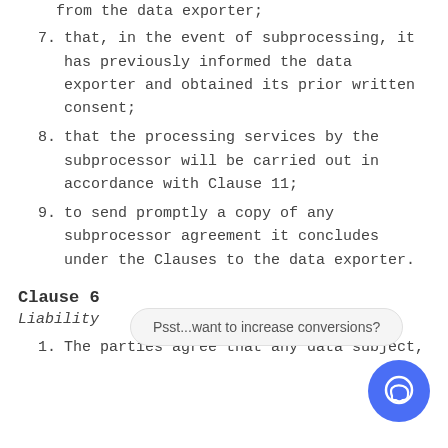from the data exporter;
7. that, in the event of subprocessing, it has previously informed the data exporter and obtained its prior written consent;
8. that the processing services by the subprocessor will be carried out in accordance with Clause 11;
9. to send promptly a copy of any subprocessor agreement it concludes under the Clauses to the data exporter.
Clause 6
Psst...want to increase conversions?
Liability
1. The parties agree that any data subject,